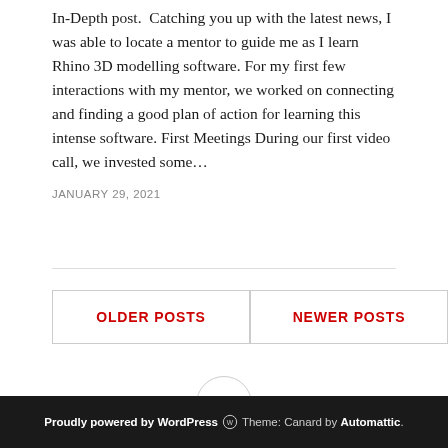In-Depth post.  Catching you up with the latest news, I was able to locate a mentor to guide me as I learn Rhino 3D modelling software. For my first few interactions with my mentor, we worked on connecting and finding a good plan of action for learning this intense software. First Meetings During our first video call, we invested some…
JANUARY 29, 2021
OLDER POSTS
NEWER POSTS
•••
Proudly powered by WordPress  Theme: Canard by Automattic.